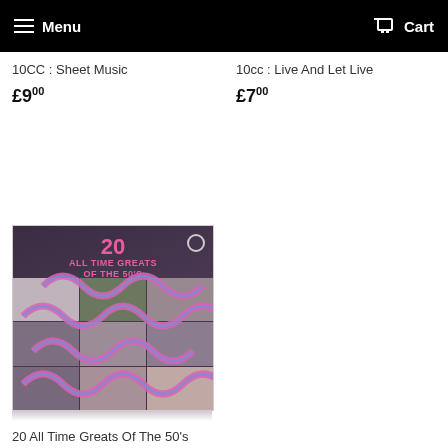Menu  Cart
10CC : Sheet Music
£9.00
10cc : Live And Let Live
£7.00
[Figure (photo): Album cover for '20 All Time Greats Of The 50s' showing a compilation vinyl record cover with multiple artist portraits arranged in a grid, overlaid with a colorful squiggly line design in pink and blue, on a dark background. Text reads '20 ALL TIME GREATS OF THE 50'S'.]
20 All Time Greats Of The 50's
£5.00